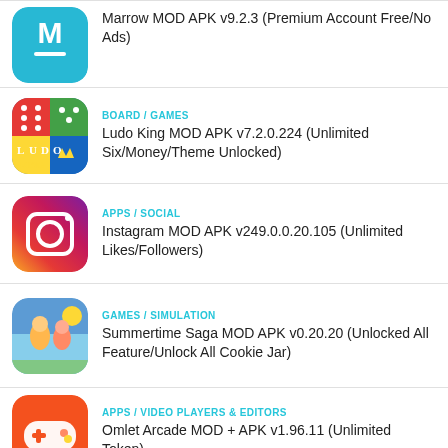Marrow MOD APK v9.2.3 (Premium Account Free/No Ads)
BOARD / GAMES
Ludo King MOD APK v7.2.0.224 (Unlimited Six/Money/Theme Unlocked)
APPS / SOCIAL
Instagram MOD APK v249.0.0.20.105 (Unlimited Likes/Followers)
GAMES / SIMULATION
Summertime Saga MOD APK v0.20.20 (Unlocked All Feature/Unlock All Cookie Jar)
APPS / VIDEO PLAYERS & EDITORS
Omlet Arcade MOD + APK v1.96.11 (Unlimited Token)